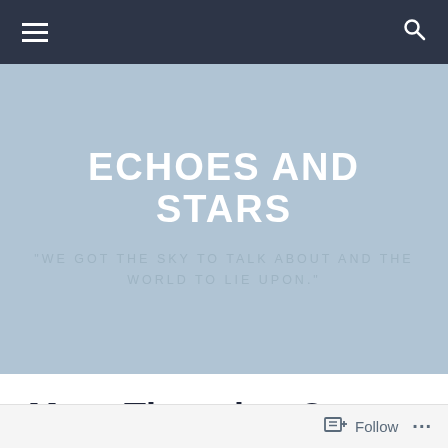Navigation bar with hamburger menu and search icon
ECHOES AND STARS
"WE GOT THE SKY TO TALK ABOUT AND THE WORLD TO LIE UPON."
More Thoughts On Election Day
Follow ...